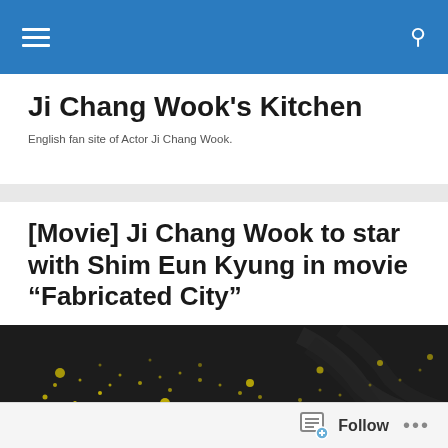Ji Chang Wook's Kitchen — navigation bar
Ji Chang Wook's Kitchen
English fan site of Actor Ji Chang Wook.
[Movie] Ji Chang Wook to star with Shim Eun Kyung in movie “Fabricated City”
Posted by Gabby
[Figure (photo): Dark background movie promotional image with yellow paint splash/splatter effect]
Follow